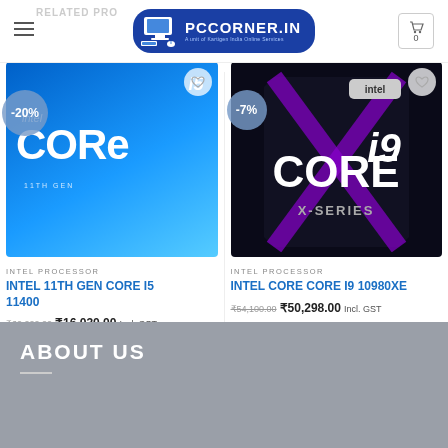PCCORNER.IN — A unit of Kartigen India Online Services
RELATED PRO...
[Figure (photo): Intel Core i5 11th Gen processor box — blue packaging with 'intel CORE i5 11TH GEN' branding, -20% discount badge]
[Figure (photo): Intel Core i9 X-Series processor box — black packaging with 'intel CORE i9 X-SERIES' branding, -7% discount badge]
INTEL PROCESSOR
INTEL 11TH GEN CORE I5 11400
₹20,000.00  ₹16,030.00 Incl. GST
INTEL PROCESSOR
INTEL CORE CORE I9 10980XE
₹54,100.00  ₹50,298.00 Incl. GST
ABOUT US